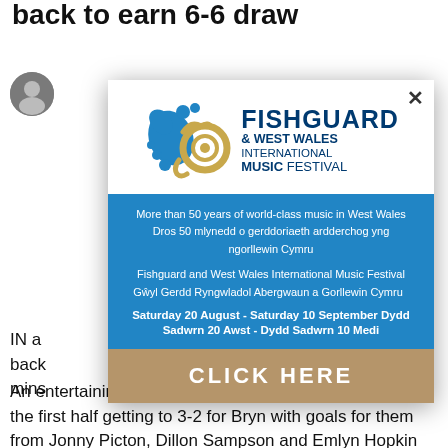back to earn 6-6 draw
[Figure (screenshot): Modal advertisement for Fishguard & West Wales International Music Festival with blue decorative splash and French horn logo, blue information section, and gold CLICK HERE button]
IN a... he back... mins...
An entertaining match saw both sides go goal for goal in the first half getting to 3-2 for Bryn with goals for them from Jonny Picton, Dillon Sampson and Emlyn Hopkin